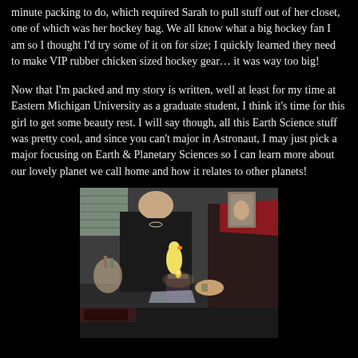minute packing to do, which required Sarah to pull stuff out of her closet, one of which was her hockey bag. We all know what a big hockey fan I am so I thought I'd try some of it on for size; I quickly learned they need to make VIP rubber chicken sized hockey gear… it was way too big!
Now that I'm packed and my story is written, well at least for my time at Eastern Michigan University as a graduate student, I think it's time for this girl to get some beauty rest. I will say though, all this Earth Science stuff was pretty cool, and since you can't major in Astronaut, I may just pick a major focusing on Earth & Planetary Sciences so I can learn more about our lovely planet we call home and how it relates to other planets!
[Figure (photo): Two people at a table, one holding a rubber chicken toy near a lit candle in a glass jar, in an indoor room setting.]